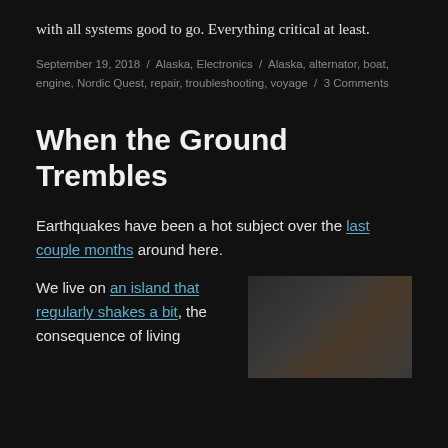with all systems good to go. Everything critical at least.
September 19, 2018 / Alaska, Electronics / Alaska, alternator, boat, engine, Nordic Quest, repair, troubleshooting, voyage / 3 Comments
When the Ground Trembles
Earthquakes have been a hot subject over the last couple months around here.
We live on an island that regularly shakes a bit, the consequence of living
[Figure (photo): Photo of electronic circuit board components with wiring, viewed from above on a workbench.]